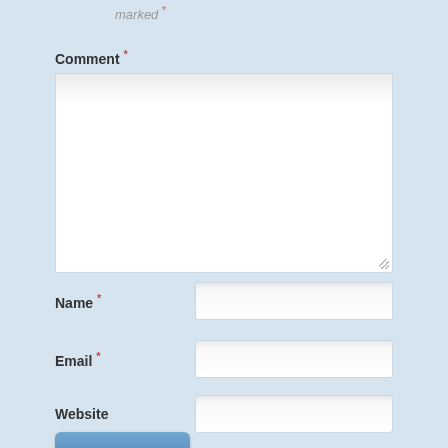marked *
Comment *
[Figure (screenshot): Large empty textarea input box with resize handle]
Name *
Email *
Website
Post Comment